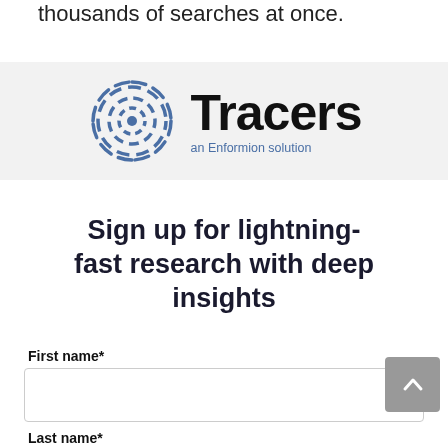thousands of searches at once.
[Figure (logo): Tracers logo — a blue concentric-circles radar icon on the left, and the word 'Tracers' in large bold black text on the right with 'an Enformion solution' in smaller blue text beneath it]
Sign up for lightning-fast research with deep insights
First name*
Last name*